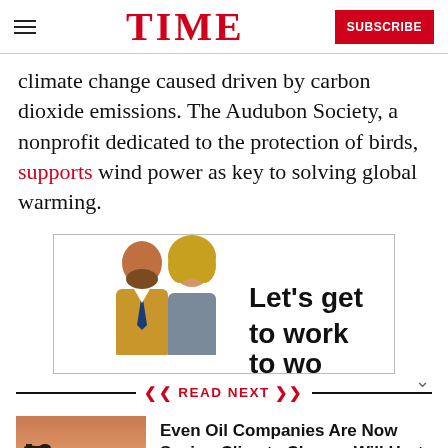TIME | SUBSCRIBE
climate change caused driven by carbon dioxide emissions. The Audubon Society, a nonprofit dedicated to the protection of birds, supports wind power as key to solving global warming.
[Figure (illustration): Advertisement banner showing two illustrated figures (a man in a yellow suit and a woman in a grey jacket) with the text 'Let’s get to work' partially visible.]
READ NEXT
[Figure (photo): Photo of oil pump jacks silhouetted against a dusky sky.]
Even Oil Companies Are Now Saying Climate Change Will Hurt Their Business